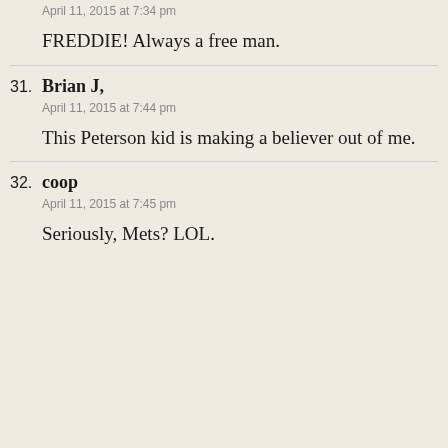April 11, 2015 at 7:34 pm
FREDDIE! Always a free man.
31. Brian J,
April 11, 2015 at 7:44 pm
This Peterson kid is making a believer out of me.
32. coop
April 11, 2015 at 7:45 pm
Seriously, Mets? LOL.